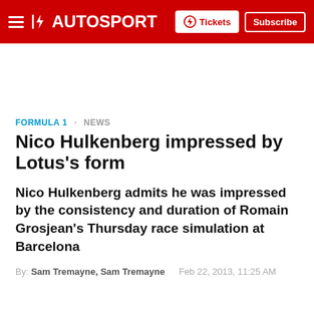AUTOSPORT — Tickets | Subscribe
FORMULA 1  NEWS
Nico Hulkenberg impressed by Lotus's form
Nico Hulkenberg admits he was impressed by the consistency and duration of Romain Grosjean's Thursday race simulation at Barcelona
By: Sam Tremayne, Sam Tremayne  Feb 22, 2013, 11:25 AM